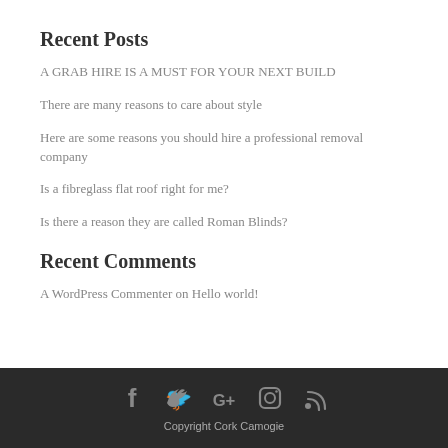Recent Posts
A GRAB HIRE IS A MUST FOR YOUR NEXT BUILD
There are many reasons to care about style
Here are some reasons you should hire a professional removal company
Is a fibreglass flat roof right for me?
Is there a reason they are called Roman Blinds?
Recent Comments
A WordPress Commenter on Hello world!
Copyright Cork Camogie